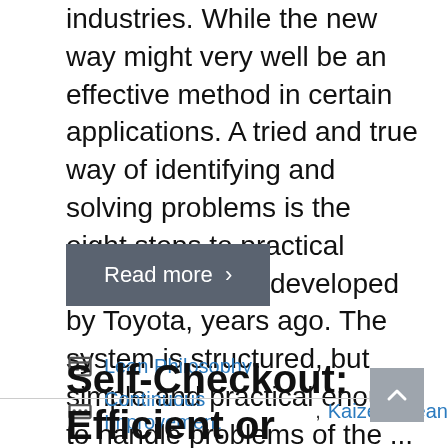industries. While the new way might very well be an effective method in certain applications. A tried and true way of identifying and solving problems is the eight steps to practical problem solving developed by Toyota, years ago. The system is structured, but simple and practical enough to handle problems of the ...
Read more ›
Lean Philosophy
Continuous Improvement, Kaizen, Lean
Self-Checkout: Efficient or